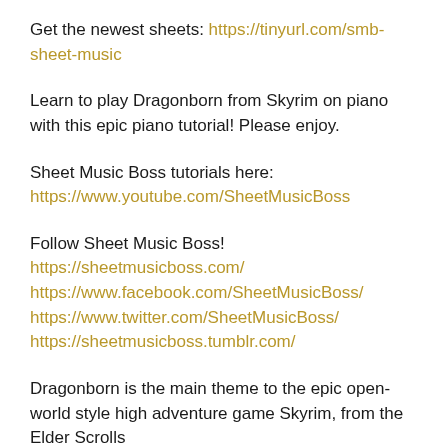Get the newest sheets: https://tinyurl.com/smb-sheet-music
Learn to play Dragonborn from Skyrim on piano with this epic piano tutorial! Please enjoy.
Sheet Music Boss tutorials here:
https://www.youtube.com/SheetMusicBoss
Follow Sheet Music Boss!
https://sheetmusicboss.com/
https://www.facebook.com/SheetMusicBoss/
https://www.twitter.com/SheetMusicBoss/
https://sheetmusicboss.tumblr.com/
Dragonborn is the main theme to the epic open-world style high adventure game Skyrim, from the Elder Scrolls